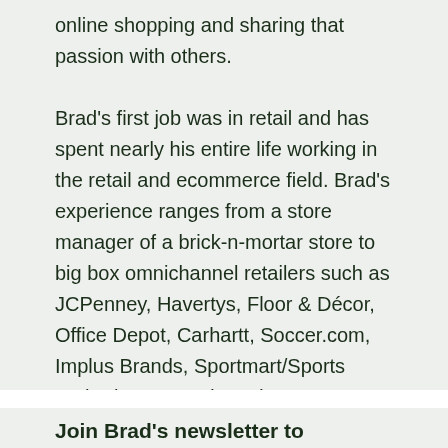online shopping and sharing that passion with others.

Brad's first job was in retail and has spent nearly his entire life working in the retail and ecommerce field. Brad's experience ranges from a store manager of a brick-n-mortar store to big box omnichannel retailers such as JCPenney, Havertys, Floor & Décor, Office Depot, Carhartt, Soccer.com, Implus Brands, Sportmart/Sports Authority, L-Brands and Macys.
Join Brad's newsletter to